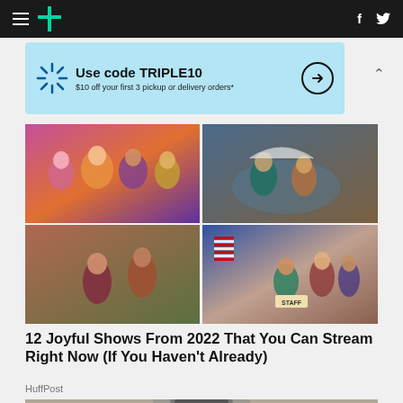HuffPost navigation with hamburger menu, logo, Facebook and Twitter icons
[Figure (other): Walmart advertisement banner: Use code TRIPLE10 - $10 off your first 3 pickup or delivery orders*]
[Figure (photo): 2x2 grid of TV show promotional photos for joyful 2022 streaming shows]
12 Joyful Shows From 2022 That You Can Stream Right Now (If You Haven't Already)
HuffPost
[Figure (photo): Black and white photo of a man from historical era, partially visible at bottom of page]